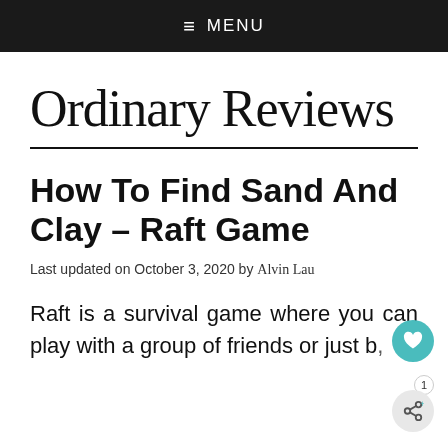≡ MENU
Ordinary Reviews
How To Find Sand And Clay – Raft Game
Last updated on October 3, 2020 by Alvin Lau
Raft is a survival game where you can play with a group of friends or just b,